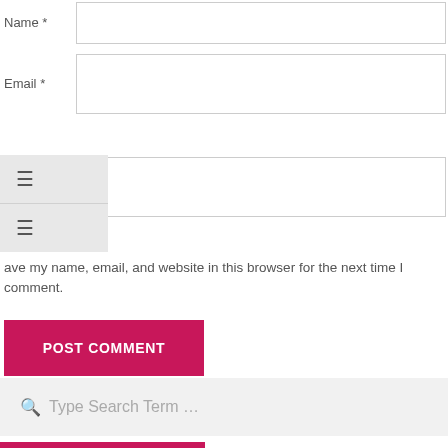Name *
Email *
te (Website, partially visible)
☰ (hamburger icon, two occurrences in overlay menu)
ave my name, email, and website in this browser for the next time I comment.
POST COMMENT
Type Search Term …
RECENT POSTS